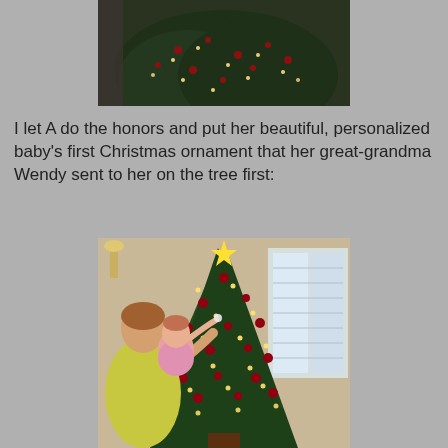[Figure (photo): Close-up photo of the top portion of a decorated Christmas tree with red berries/ornaments and warm white lights, partially cut off at the top]
I let A do the honors and put her beautiful, personalized baby's first Christmas ornament that her great-grandma Wendy sent to her on the tree first:
[Figure (photo): A woman holding a baby in pink clothing near a decorated Christmas tree with red ornaments and warm white lights; the baby is reaching toward the tree to place an ornament]